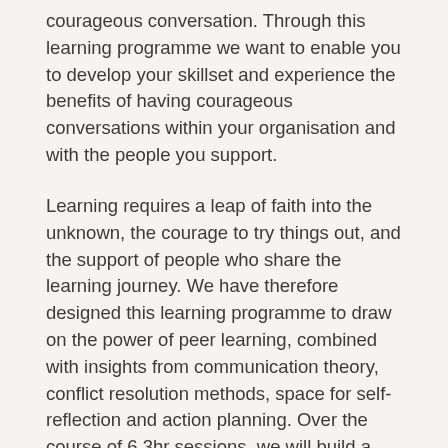courageous conversation. Through this learning programme we want to enable you to develop your skillset and experience the benefits of having courageous conversations within your organisation and with the people you support.
Learning requires a leap of faith into the unknown, the courage to try things out, and the support of people who share the learning journey. We have therefore designed this learning programme to draw on the power of peer learning, combined with insights from communication theory, conflict resolution methods, space for self-reflection and action planning. Over the course of 6 3hr sessions, we will build a peer learning community in which participants increasingly take on greater responsibility for supporting each other in the ongoing process of applying your learning to your respective practice context. Each 3hr session is designed to